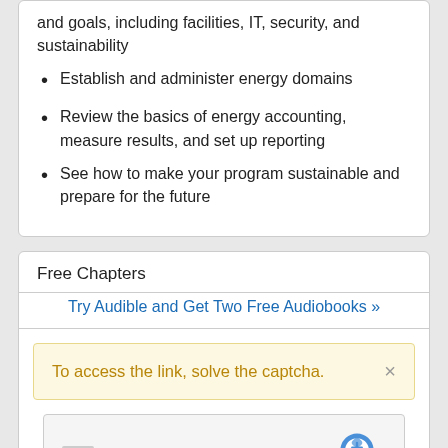and goals, including facilities, IT, security, and sustainability
Establish and administer energy domains
Review the basics of energy accounting, measure results, and set up reporting
See how to make your program sustainable and prepare for the future
Free Chapters
Try Audible and Get Two Free Audiobooks »
To access the link, solve the captcha.
[Figure (screenshot): reCAPTCHA widget with checkbox labeled 'I'm not a robot' and reCAPTCHA logo with Privacy and Terms links]